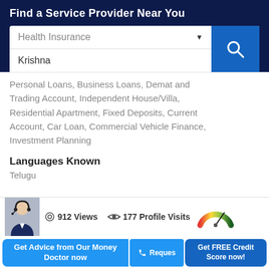Find a Service Provider Near You
Health Insurance
Krishna
Personal Loans, Business Loans, Demat and Trading Account, Independent House/Villa, Residential Apartment, Fixed Deposits, Current Account, Car Loan, Commercial Vehicle Finance, Investment Planning
Languages Known
Telugu
912 Views
177 Profile Visits
Get Advice from Our Money Doctor now
Reques
Get FREE Credit Score now!